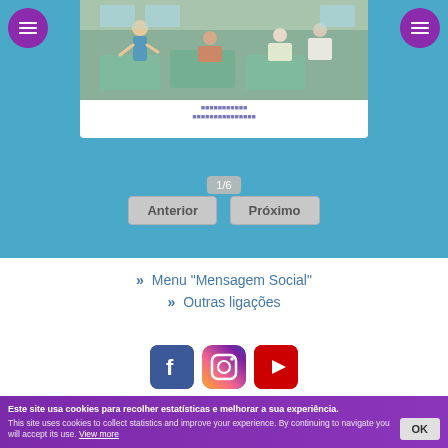[Figure (photo): Yoga class with people sitting on mats, instructor leading session]
■■■■■■■■■■■ ■■■■■■■■■■■■■■■
1/6
Anterior   Próximo
» Menu "Mensagem Social"
» Outras ligações
[Figure (logo): Facebook, Instagram, YouTube social media icons]
Este site usa cookies para recolher estatísticas e melhorar a sua experiência. This site uses cookies to collect statistics and improve your experience. By continuing to navigate you will accept its use. View more  OK